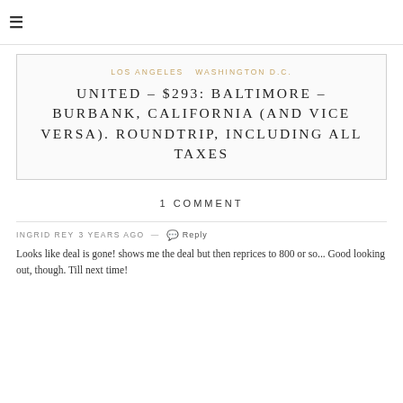≡
LOS ANGELES  WASHINGTON D.C.
UNITED – $293: BALTIMORE – BURBANK, CALIFORNIA (AND VICE VERSA). ROUNDTRIP, INCLUDING ALL TAXES
1 COMMENT
INGRID REY 3 years ago — Reply
Looks like deal is gone! shows me the deal but then reprices to 800 or so... Good looking out, though. Till next time!